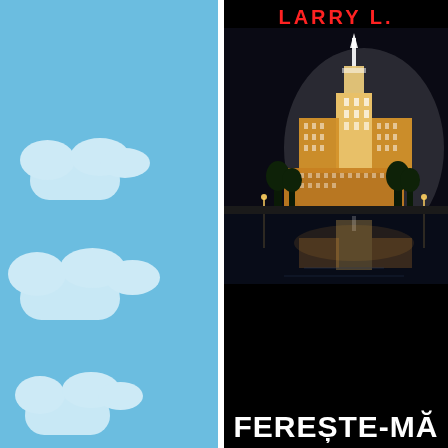[Figure (illustration): Left half: light blue sky background with white cartoon clouds. Right half: Book cover with black background, author name 'LARRY L.' in red at top, red star, night photo of illuminated Soviet-era skyscraper (Moscow State University) reflected in water, bold white title text 'FERESTE-MĂ' at bottom.]
LARRY L.
FERESTE-MĂ